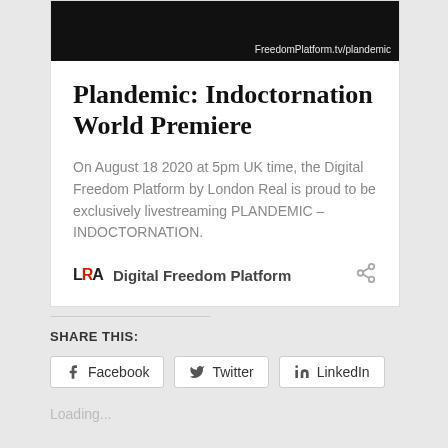[Figure (screenshot): Dark thumbnail image with text 'FreedomPlatform.tv/plandemic' at the top]
Plandemic: Indoctornation World Premiere
On August 18 2020 at 5pm UK time, the Digital Freedom Platform by London Real is proud to be exclusively livestreaming PLANDEMIC – INDOCTORNATION.
LRA Digital Freedom Platform
SHARE THIS:
Facebook  Twitter  LinkedIn
Loading...